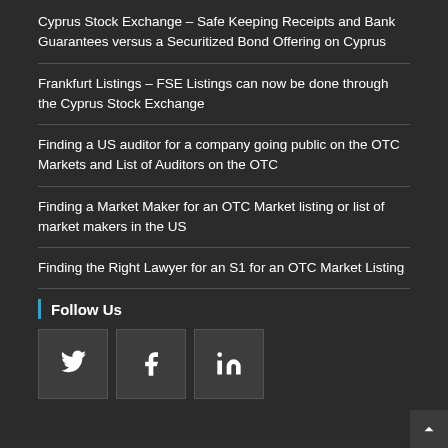Cyprus Stock Exchange – Safe Keeping Receipts and Bank Guarantees versus a Securitized Bond Offering on Cyprus
Frankfurt Listings – FSE Listings can now be done through the Cyprus Stock Exchange
Finding a US auditor for a company going public on the OTC Markets and List of Auditors on the OTC
Finding a Market Maker for an OTC Market listing or list of market makers in the US
Finding the Right Lawyer for an S1 for an OTC Market Listing
Follow Us